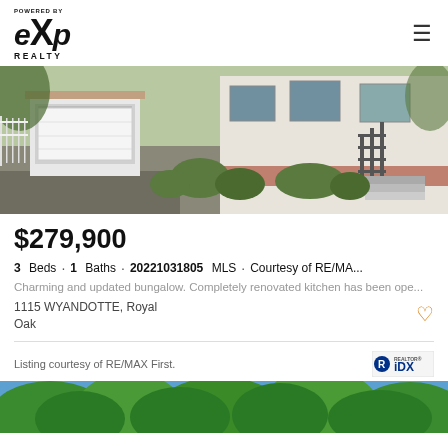eXp Realty
[Figure (photo): Exterior photo of a bungalow house showing garage, driveway, brick foundation, white siding, landscaping, and exterior stairs]
$279,900
3 Beds · 1 Baths · 20221031805 MLS · Courtesy of RE/MA...
Charming and updated bungalow. Completely renovated kitchen has been ope...
1115 WYANDOTTE, Royal Oak
Listing courtesy of RE/MAX First.
[Figure (photo): Aerial or ground-level photo showing lush green trees against blue sky]